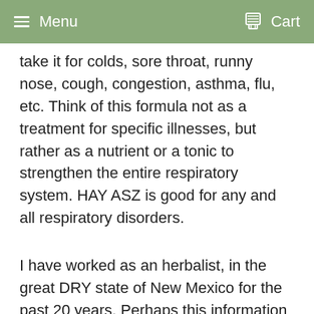Menu   Cart
take it for colds, sore throat, runny nose, cough, congestion, asthma, flu, etc. Think of this formula not as a treatment for specific illnesses, but rather as a nutrient or a tonic to strengthen the entire respiratory system. HAY ASZ is good for any and all respiratory disorders.
I have worked as an herbalist, in the great DRY state of New Mexico for the past 20 years. Perhaps this information will be helpful during